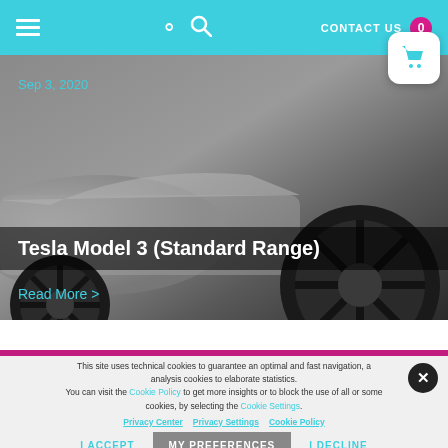CONTACT US  0
Sep 3, 2020
Tesla Model 3 (Standard Range)
Read More >
This site uses technical cookies to guarantee an optimal and fast navigation, a analysis cookies to elaborate statistics. You can visit the Cookie Policy to get more insights or to block the use of all or some cookies, by selecting the Cookie Settings. By choosing Accept, you give your permission to use the abovementioned cookies.
I ACCEPT   MY PREFERENCES   I DECLINE
Privacy Center  Privacy Settings  Cookie Policy